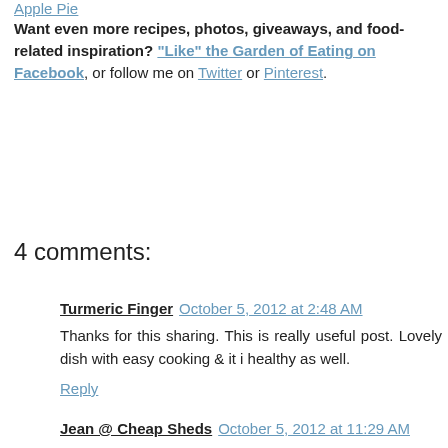Apple Pie
Want even more recipes, photos, giveaways, and food-related inspiration? "Like" the Garden of Eating on Facebook, or follow me on Twitter or Pinterest.
4 comments:
Turmeric Finger  October 5, 2012 at 2:48 AM
Thanks for this sharing. This is really useful post. Lovely dish with easy cooking & it i healthy as well.
Reply
Jean @ Cheap Sheds  October 5, 2012 at 11:29 AM